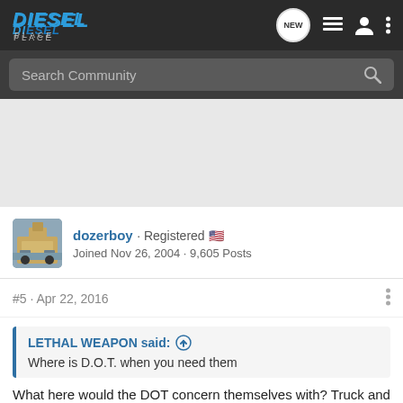DIESEL PLACE — Navigation bar with search
Search Community
dozerboy · Registered
Joined Nov 26, 2004 · 9,605 Posts
#5 · Apr 22, 2016
LETHAL WEAPON said: ↑
Where is D.O.T. when you need them
What here would the DOT concern themselves with? Truck and